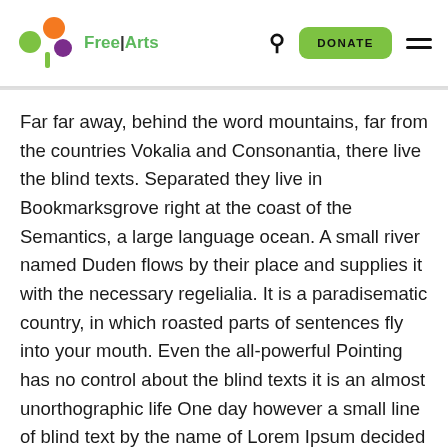Free Arts — Navigation header with logo, search, donate button, and menu
Far far away, behind the word mountains, far from the countries Vokalia and Consonantia, there live the blind texts. Separated they live in Bookmarksgrove right at the coast of the Semantics, a large language ocean. A small river named Duden flows by their place and supplies it with the necessary regelialia. It is a paradisematic country, in which roasted parts of sentences fly into your mouth. Even the all-powerful Pointing has no control about the blind texts it is an almost unorthographic life One day however a small line of blind text by the name of Lorem Ipsum decided